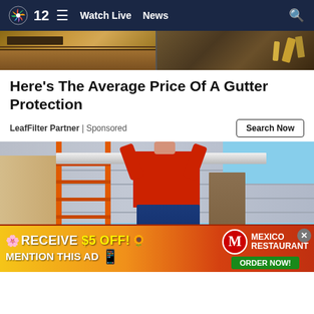12 NBC On Your Side — Watch Live  News
[Figure (photo): Close-up photo of a gutter/roof edge with tools visible on the right side]
Here's The Average Price Of A Gutter Protection
LeafFilter Partner | Sponsored
Search Now
[Figure (photo): Person in a red shirt on an orange ladder installing a white gutter on a house with grey siding]
[Figure (photo): Advertisement banner: RECEIVE $5 OFF! MENTION THIS AD — Mexico Restaurant ORDER NOW!]